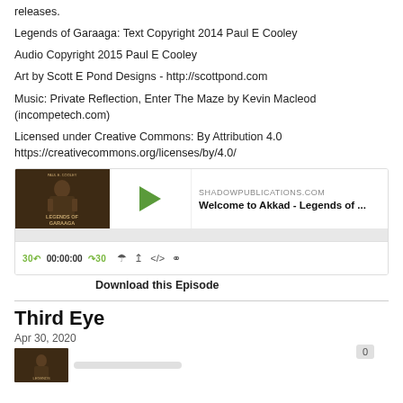releases.
Legends of Garaaga: Text Copyright 2014 Paul E Cooley
Audio Copyright 2015 Paul E Cooley
Art by Scott E Pond Designs - http://scottpond.com
Music: Private Reflection, Enter The Maze by Kevin Macleod (incompetech.com)
Licensed under Creative Commons: By Attribution 4.0
https://creativecommons.org/licenses/by/4.0/
[Figure (screenshot): Podcast audio player widget showing cover art for Legends of Garaaga by Paul E Cooley, with play button, episode title 'Welcome to Akkad - Legends of ...', site label SHADOWPUBLICATIONS.COM, progress bar, and playback controls showing 30s back, 00:00:00, 30s forward, and icons for RSS, download, embed, and share.]
Download this Episode
Third Eye
Apr 30, 2020